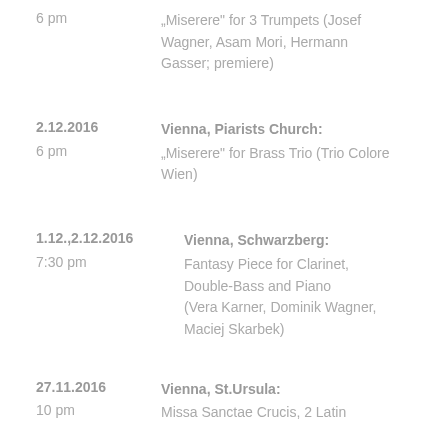6 pm — "Miserere" for 3 Trumpets (Josef Wagner, Asam Mori, Hermann Gasser; premiere)
2.12.2016 Vienna, Piarists Church: 6 pm "Miserere" for Brass Trio (Trio Colore Wien)
1.12.,2.12.2016 Vienna, Schwarzberg: 7:30 pm Fantasy Piece for Clarinet, Double-Bass and Piano (Vera Karner, Dominik Wagner, Maciej Skarbek)
27.11.2016 Vienna, St.Ursula: 10 pm Missa Sanctae Crucis, 2 Latin